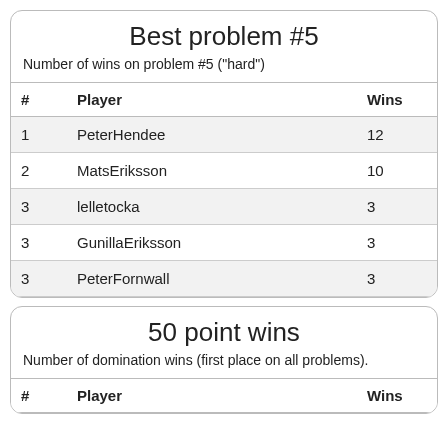Best problem #5
Number of wins on problem #5 ("hard")
| # | Player | Wins |
| --- | --- | --- |
| 1 | PeterHendee | 12 |
| 2 | MatsEriksson | 10 |
| 3 | lelletocka | 3 |
| 3 | GunillaEriksson | 3 |
| 3 | PeterFornwall | 3 |
50 point wins
Number of domination wins (first place on all problems).
| # | Player | Wins |
| --- | --- | --- |